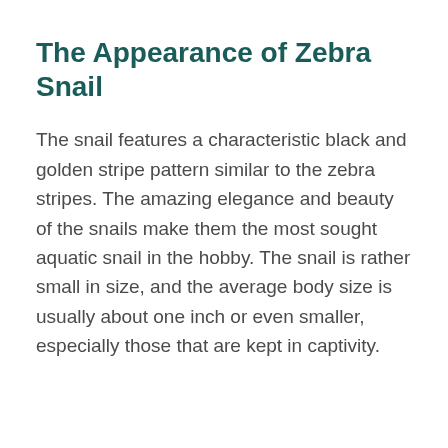The Appearance of Zebra Snail
The snail features a characteristic black and golden stripe pattern similar to the zebra stripes. The amazing elegance and beauty of the snails make them the most sought aquatic snail in the hobby. The snail is rather small in size, and the average body size is usually about one inch or even smaller, especially those that are kept in captivity.